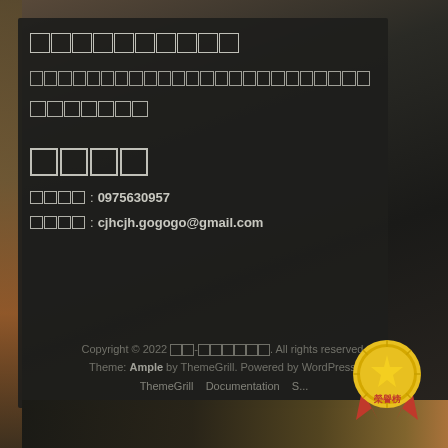□□□□□□□□□□
□□□□□□□□□□□□□□□□□□□□□□□□□□□□□□□□□□□□□□□□□□□
□□□□□□□
□□□□
□□□□: 0975630957
□□□□: cjhcjh.gogogo@gmail.com
Copyright © 2022 □□-□□□□□□□. All rights reserved. Theme: Ample by ThemeGrill. Powered by WordPress. ThemeGrill  Documentation  S...
[Figure (illustration): Gold award badge with red ribbon and Chinese characters 榮譽榜]